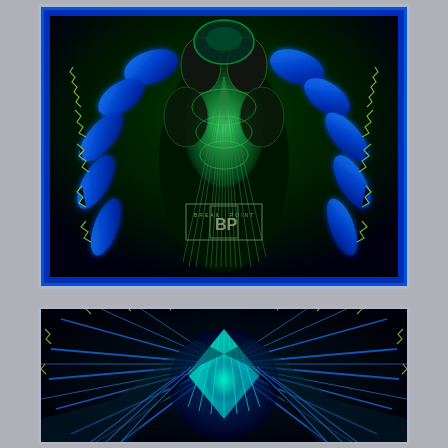[Figure (illustration): Digital illustration of a tarantula spider viewed from above, showing blue legs with green highlights and yellow-green serrated hairs, dark body with green shading, set against a black background with blue border glow. A 'Break Point' logo watermark is visible in the lower center.]
[Figure (illustration): Digital illustration of a tarantula spider viewed from below/front, showing symmetrical blue and teal patterned body with green serrated feather-like legs, geometric glowing teal center, set against a dark background.]